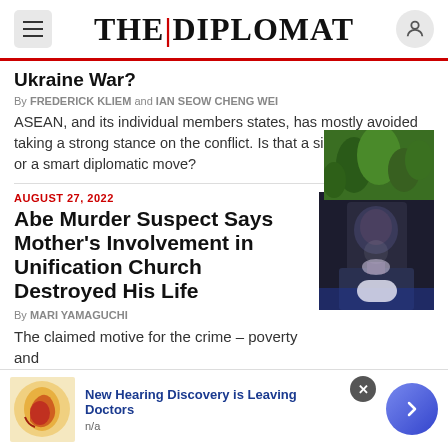THE|DIPLOMAT
Ukraine War?
By FREDERICK KLIEM and IAN SEOW CHENG WEI
ASEAN, and its individual members states, has mostly avoided taking a strong stance on the conflict. Is that a sign of weakness, or a smart diplomatic move?
AUGUST 27, 2022
Abe Murder Suspect Says Mother's Involvement in Unification Church Destroyed His Life
By MARI YAMAGUCHI
The claimed motive for the crime – poverty and
New Hearing Discovery is Leaving Doctors
n/a